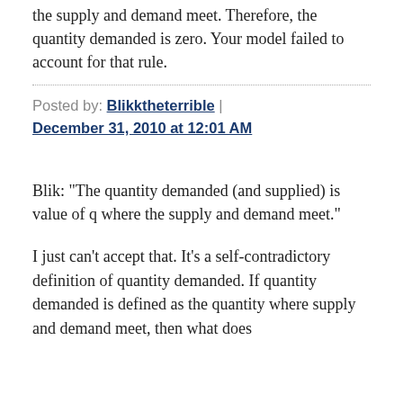the supply and demand meet. Therefore, the quantity demanded is zero. Your model failed to account for that rule.
Posted by: Blikktheterrible | December 31, 2010 at 12:01 AM
Blik: "The quantity demanded (and supplied) is value of q where the supply and demand meet."
I just can't accept that. It's a self-contradictory definition of quantity demanded. If quantity demanded is defined as the quantity where supply and demand meet, then what does